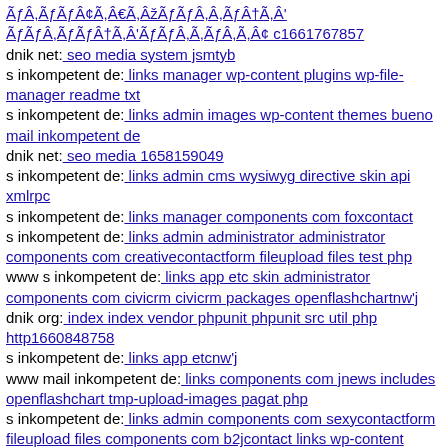ÃƒÂ,ÃƒÃƒÂ¢Ã,Â€Ã,ÂžÃƒÃƒÂ,Â,ÃƒÂ†Ã,Â' ÃƒÃƒÂ,ÃƒÃƒÂ†Ã,Â'ÃƒÃƒÂ,Ã,ÃƒÂ,Ã,Â¢ c1661767857
dnik net: seo media system jsmtyb
s inkompetent de: links manager wp-content plugins wp-file-manager readme txt
s inkompetent de: links admin images wp-content themes bueno mail inkompetent de
dnik net: seo media 1658159049
s inkompetent de: links admin cms wysiwyg directive skin api xmlrpc
s inkompetent de: links manager components com foxcontact
s inkompetent de: links admin administrator administrator components com creativecontactform fileupload files test php
www s inkompetent de: links app etc skin administrator components com civicrm civicrm packages openflashchartnw'j
dnik org: index index vendor phpunit phpunit src util php http1660848758
s inkompetent de: links app etcnw'j
www mail inkompetent de: links components com jnews includes openflashchart tmp-upload-images pagat php
s inkompetent de: links admin components com sexycontactform fileupload files components com b2jcontact links wp-content plugins zexxx php
dnik net: seo tpl git head
s inkompetent de: links wp-content api components com b2jcontact